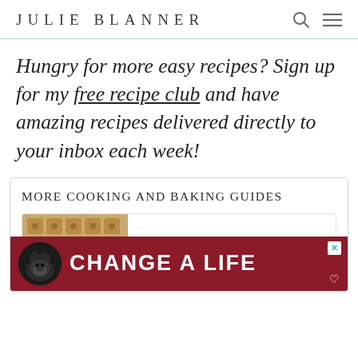JULIE BLANNER
Hungry for more easy recipes? Sign up for my free recipe club and have amazing recipes delivered directly to your inbox each week!
MORE COOKING AND BAKING GUIDES
[Figure (photo): Partial view of baking/cooking related image, tan/brown tones with perforated biscuit-like pattern]
[Figure (infographic): Advertisement banner: red background with black dog and text 'CHANGE A LIFE' in white bold letters, close button (x) in top right, heart icon in bottom right]